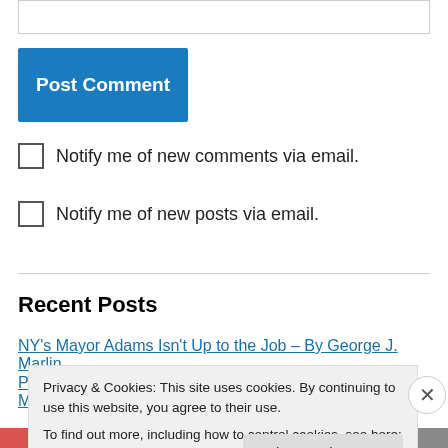[Figure (screenshot): Input text box (empty)]
Post Comment
Notify me of new comments via email.
Notify me of new posts via email.
Recent Posts
NY’s Mayor Adams Isn’t Up to the Job – By George J. Marlin
Pius XII: The Pope Who Defied Hitler – By George J. Marlin
Privacy & Cookies: This site uses cookies. By continuing to use this website, you agree to their use.
To find out more, including how to control cookies, see here: Cookie Policy
Close and accept